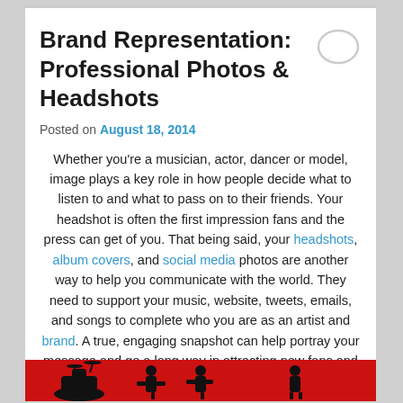Brand Representation: Professional Photos & Headshots
Posted on August 18, 2014
Whether you're a musician, actor, dancer or model, image plays a key role in how people decide what to listen to and what to pass on to their friends. Your headshot is often the first impression fans and the press can get of you. That being said, your headshots, album covers, and social media photos are another way to help you communicate with the world. They need to support your music, website, tweets, emails, and songs to complete who you are as an artist and brand. A true, engaging snapshot can help portray your message and go a long way in attracting new fans and entertaining current ones.
[Figure (illustration): Silhouette of musicians on a red background at the bottom of the page]